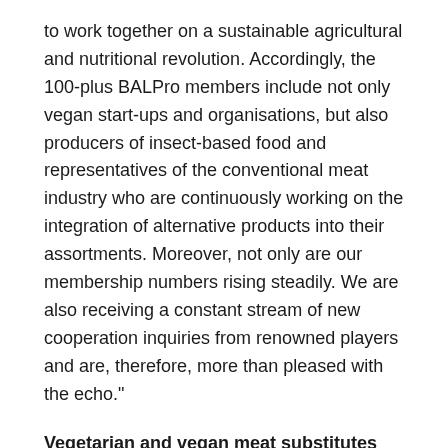to work together on a sustainable agricultural and nutritional revolution. Accordingly, the 100-plus BALPro members include not only vegan start-ups and organisations, but also producers of insect-based food and representatives of the conventional meat industry who are continuously working on the integration of alternative products into their assortments. Moreover, not only are our membership numbers rising steadily. We are also receiving a constant stream of new cooperation inquiries from renowned players and are, therefore, more than pleased with the echo."
Vegetarian and vegan meat substitutes are trending. How do you think the worldwide market will develop over the coming years?
Carla Rühl: "According to the...